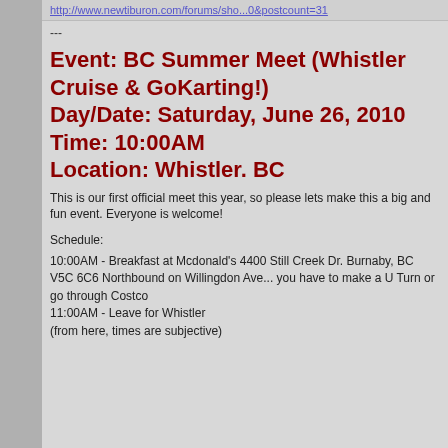http://www.newtiburon.com/forums/sho...0&postcount=31
---
Event: BC Summer Meet (Whistler Cruise & GoKarting!) Day/Date: Saturday, June 26, 2010 Time: 10:00AM Location: Whistler. BC
This is our first official meet this year, so please lets make this a big and fun event. Everyone is welcome!
Schedule:
10:00AM - Breakfast at Mcdonald's 4400 Still Creek Dr. Burnaby, BC V5C 6C6 Northbound on Willingdon Ave... you have to make a U Turn or go through Costco 11:00AM - Leave for Whistler (from here, times are subjective)